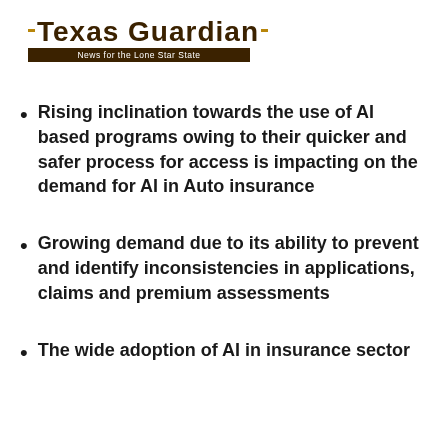Texas Guardian — News for the Lone Star State
Rising inclination towards the use of AI based programs owing to their quicker and safer process for access is impacting on the demand for AI in Auto insurance
Growing demand due to its ability to prevent and identify inconsistencies in applications, claims and premium assessments
The wide adoption of AI in insurance sector